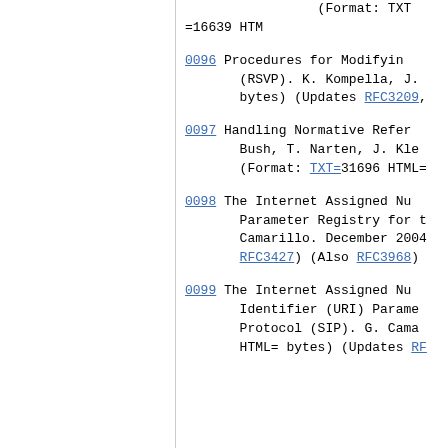(Format: TXT =16639 HTML
0096 Procedures for Modifying (RSVP). K. Kompella, J. bytes) (Updates RFC3209,
0097 Handling Normative Refer Bush, T. Narten, J. Kle (Format: TXT=31696 HTML=
0098 The Internet Assigned Nu Parameter Registry for t Camarillo. December 2004 RFC3427) (Also RFC3968)
0099 The Internet Assigned Nu Identifier (URI) Parame Protocol (SIP). G. Cama HTML= bytes) (Updates RF